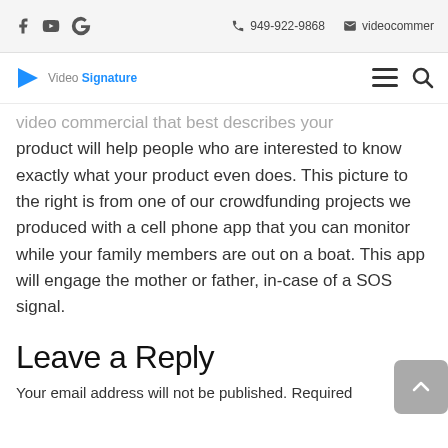Facebook | YouTube | Google | 949-922-9868 | videocomm...
[Figure (logo): Video Signature logo with blue play icon and text 'Video Signature', plus hamburger menu and search icons]
video commercial that best describes your product will help people who are interested to know exactly what your product even does. This picture to the right is from one of our crowdfunding projects we produced with a cell phone app that you can monitor while your family members are out on a boat. This app will engage the mother or father, in-case of a SOS signal.
Leave a Reply
Your email address will not be published. Required